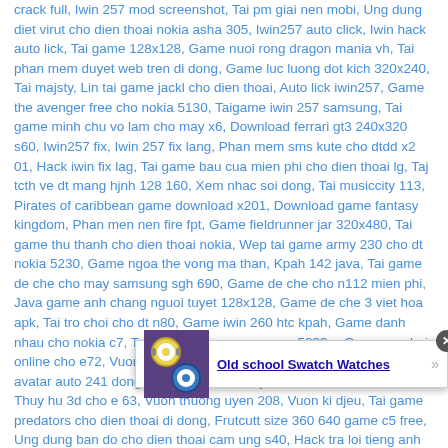crack full, Iwin 257 mod screenshot, Tai pm giai nen mobi, Ung dung diet virut cho dien thoai nokia asha 305, Iwin257 auto click, Iwin hack auto lick, Tai game 128x128, Game nuoi rong dragon mania vh, Tai phan mem duyet web tren di dong, Game luc luong dot kich 320x240, Tai majsty, Lin tai game jackl cho dien thoai, Auto lick iwin257, Game the avenger free cho nokia 5130, Taigame iwin 257 samsung, Tai game minh chu vo lam cho may x6, Download ferrari gt3 240x320 s60, Iwin257 fix, Iwin 257 fix lang, Phan mem sms kute cho dtdd x2 01, Hack iwin fix lag, Tai game bau cua mien phi cho dien thoai lg, Taj tcth ve dt mang hjnh 128 160, Xem nhac soi dong, Tai musiccity 113, Pirates of caribbean game download x201, Download game fantasy kingdom, Phan men nen fire fpt, Game fieldrunner jar 320x480, Tai game thu thanh cho dien thoai nokia, Wep tai game army 230 cho dt nokia 5230, Game ngoa the vong ma than, Kpah 142 java, Tai game de che cho may samsung sgh 690, Game de che cho n112 mien phi, Java game anh chang nguoi tuyet 128x128, Game de che 3 viet hoa apk, Tai tro choi cho dt n80, Game iwin 260 htc kpah, Game danh nhau cho nokia c7, Tai ipet cho may samsung s5233w, Game vua bai online cho e72, Vuontruc, Vuon thuong uyen 320x240, Tai game avatar auto 241 dong bang cau ca, Gunny offline crack cho nokia, Thuy hu 3d cho e 63, Vuon thuong uyen 208, Vuon ki djeu, Tai game predators cho dien thoai di dong, Frutcutt size 360 640 game c5 free, Ung dung ban do cho dien thoai cam ung s40, Hack tra loi tieng anh game avatar, Tro choi khu vuon ky dieu, Taj khu vuon thuong uyen 107, Aoe trung quoc cho dt man hinh 176x208, Taj game vuon thuong uyen 1 0 7 ch0 samsung, Taikhuvuonkydieu, Taigamekhuvuonthuonguyenmienphi 1 0 6, Game tri tue man hinh 128 160, Tai game co ti nhu cark, D m ve tranh cho s60, Tai tro choi khu vuon ki..., Tai game mob..., Tai game vuo..., dong, Tai..., Tai wo of tand cho android, Tai game cuoc chien giua cac vi than ve dien thoai nokia c3, Tai
[Figure (other): Advertisement popup overlay showing colorful watches image on left and bold underlined text 'Old school Swatch Watches' with a close button (X) and arrow]